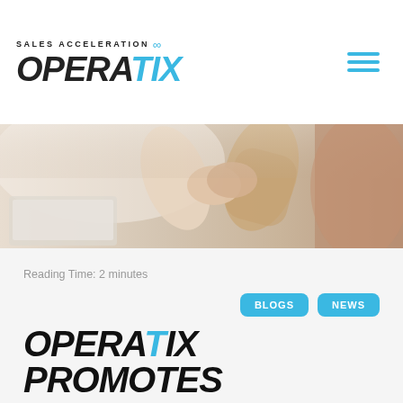SALES ACCELERATION OPERATIX
[Figure (photo): Two people shaking or holding hands across a table, warm office lighting, laptop visible in background.]
Reading Time: 2 minutes
BLOGS   NEWS
OPERATIX PROMOTES